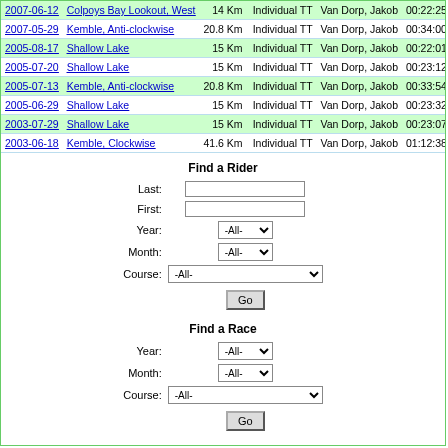| Date | Course | Distance | Type | Rider | Time |
| --- | --- | --- | --- | --- | --- |
| 2007-06-12 | Colpoys Bay Lookout, West | 14 Km | Individual TT | Van Dorp, Jakob | 00:22:25 |
| 2007-05-29 | Kemble, Anti-clockwise | 20.8 Km | Individual TT | Van Dorp, Jakob | 00:34:00 |
| 2005-08-17 | Shallow Lake | 15 Km | Individual TT | Van Dorp, Jakob | 00:22:01 |
| 2005-07-20 | Shallow Lake | 15 Km | Individual TT | Van Dorp, Jakob | 00:23:12 |
| 2005-07-13 | Kemble, Anti-clockwise | 20.8 Km | Individual TT | Van Dorp, Jakob | 00:33:54 |
| 2005-06-29 | Shallow Lake | 15 Km | Individual TT | Van Dorp, Jakob | 00:23:32 |
| 2003-07-29 | Shallow Lake | 15 Km | Individual TT | Van Dorp, Jakob | 00:23:07 |
| 2003-06-18 | Kemble, Clockwise | 41.6 Km | Individual TT | Van Dorp, Jakob | 01:12:38 |
Find a Rider
Last: [input] First: [input] Year: -All- Month: -All- Course: -All- Go
Find a Race
Year: -All- Month: -All- Course: -All- Go